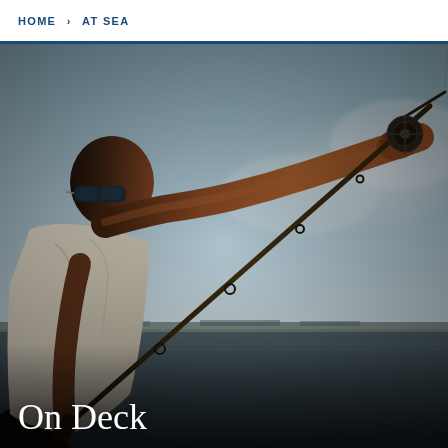HOME > AT SEA
[Figure (photo): A muscular Black man wearing sunglasses and a white t-shirt stands on a boat, extending both arms forward while holding a fishing rod with a reel, casting out over dark open water under a hazy blue-grey sky. The photo is taken from behind and slightly to the side, showing his powerful form and extended arm muscles. The horizon shows a flat shoreline in the distance.]
On Deck